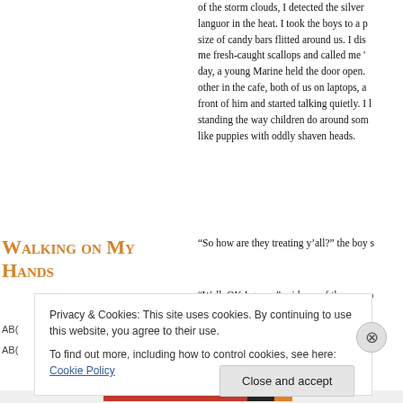of the storm clouds, I detected the silver languor in the heat. I took the boys to a p... size of candy bars flitted around us. I dis... me fresh-caught scallops and called me '...' day, a young Marine held the door open. other in the cafe, both of us on laptops, a... front of him and started talking quietly. I l... standing the way children do around som... like puppies with oddly shaven heads.
Walking on My Hands
“So how are they treating y’all?” the boy s...
“Well. OK I guess.” said one of the newco...
Privacy & Cookies: This site uses cookies. By continuing to use this website, you agree to their use.
To find out more, including how to control cookies, see here: Cookie Policy
Close and accept